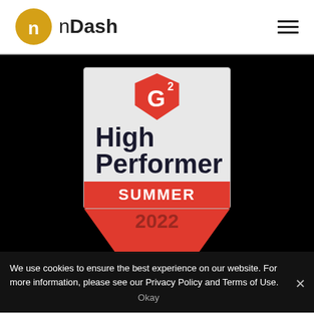[Figure (logo): nDash company logo: gold circle with white 'n' letter, followed by 'nDash' text]
[Figure (illustration): G2 High Performer Summer 2022 badge on black background]
We use cookies to ensure the best experience on our website. For more information, please see our Privacy Policy and Terms of Use.
Okay